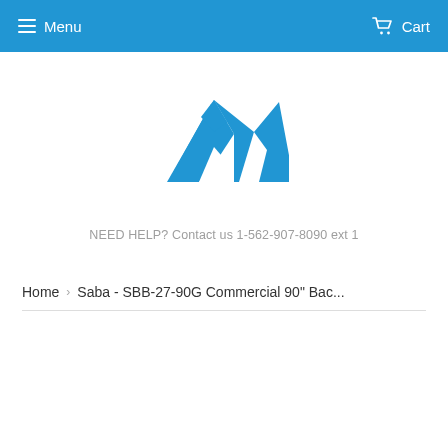Menu   Cart
[Figure (logo): Blue mountain peaks logo icon]
NEED HELP? Contact us 1-562-907-8090 ext 1
Home › Saba - SBB-27-90G Commercial 90" Bac...